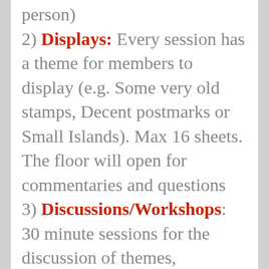person)
2) Displays: Every session has a theme for members to display (e.g. Some very old stamps, Decent postmarks or Small Islands). Max 16 sheets. The floor will open for commentaries and questions
3) Discussions/Workshops: 30 minute sessions for the discussion of themes, demonstration of techniques etc. (e.g. Types of paper or Stamps on the Internet) Offers to sit on a panel are welcome